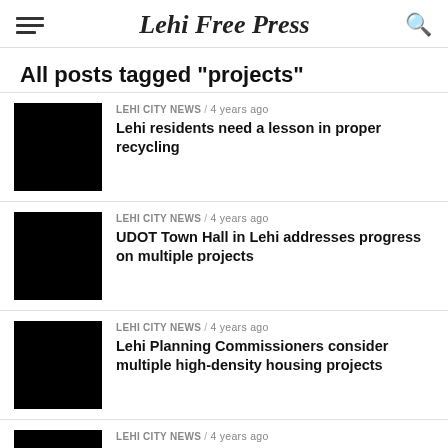Lehi Free Press
All posts tagged "projects"
LEHI CITY NEWS / 4 years ago
Lehi residents need a lesson in proper recycling
LEHI CITY NEWS / 4 years ago
UDOT Town Hall in Lehi addresses progress on multiple projects
LEHI CITY NEWS / 4 years ago
Lehi Planning Commissioners consider multiple high-density housing projects
LEHI CITY NEWS / 4 years ago
Planning Commissioners deny zone change on medical office building